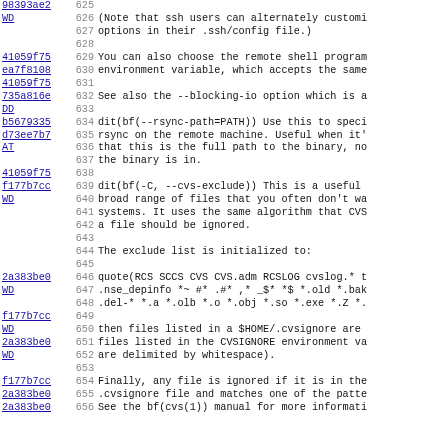Code/diff view with line numbers and hash references, lines 625-656
| hash | line | text |
| --- | --- | --- |
| 98393ae2 | 625 |  |
| WD | 626 | (Note that ssh users can alternately customi |
|  | 627 | options in their .ssh/config file.) |
|  | 628 |  |
| 41059f75 | 629 | You can also choose the remote shell program |
| ea7f8108 | 630 | environment variable, which accepts the same |
| 41059f75 | 631 |  |
| 735a816e | 632 | See also the --blocking-io option which is a |
| DD | 633 |  |
| b5679335 | 634 | dit(bf(--rsync-path=PATH)) Use this to speci |
| d73ee7b7 | 635 | rsync on the remote machine. Useful when it' |
| AT | 636 | that this is the full path to the binary, no |
|  | 637 | the binary is in. |
| 41059f75 | 638 |  |
| f177b7cc | 639 | dit(bf(-C, --cvs-exclude)) This is a useful |
| WD | 640 | broad range of files that you often don't wa |
|  | 641 | systems. It uses the same algorithm that CVS |
|  | 642 | a file should be ignored. |
|  | 643 |  |
|  | 644 | The exclude list is initialized to: |
|  | 645 |  |
| 2a383be0 | 646 | quote(RCS SCCS CVS CVS.adm RCSLOG cvslog.* t |
| WD | 647 | .nse_depinfo *~ #* .#* ,* _$* *$ *.old *.bak |
|  | 648 | .del-* *.a *.olb *.o *.obj *.so *.exe *.Z *. |
| f177b7cc | 649 |  |
| WD | 650 | then files listed in a $HOME/.cvsignore are |
| 2a383be0 | 651 | files listed in the CVSIGNORE environment va |
| WD | 652 | are delimited by whitespace). |
|  | 653 |  |
| f177b7cc | 654 | Finally, any file is ignored if it is in the |
| 2a383be0 | 655 | .cvsignore file and matches one of the patte |
| 2a383be0 | 656 | See the bf(cvs(1)) manual for more informati |